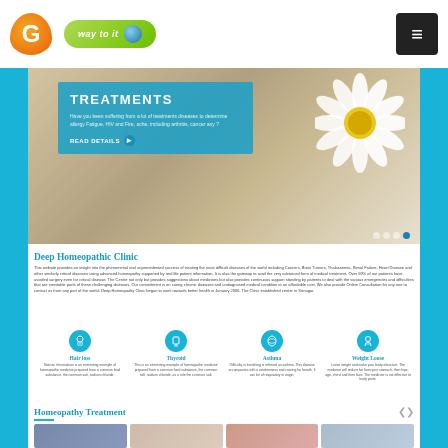Deep Homeopathic Clinic - Logo G, Way to It, Menu button
[Figure (screenshot): Hero banner showing TREATMENTS heading with blue overlay box, text about diseases, READ DETAILS button, and daisy flower on right side with navigation dots]
Deep Homeopathic Clinic
This website provides an insight into the phenomenal and unprecedented success of treating the most difficult diseases of the world including Cancers, Brain Tumors, Thalassemia, Renal Failure, Heart Disease and other similarly critical diseases using advanced homeopathy supported by real life patient information. It is also the gateway to avail the very advanced form of medical treatment. Over 99% of our patients have avoided surgery even for critical disease. The Centre not only but provides suggestions about medicines but also provides continuous support standing by patients to deal with the various emergencies and difficulties that are inevitable parts of these challenging diseases. Our commitment is on curing chronic diseases and undiagnosed medical condition at an affordable cost. We also provide Online Consultation for any one to contact us from any part of the world. Deep Homeopathy Clinic began to work towards better health in January 2006. The Clinic established center in Srinagar.
[Figure (infographic): Four icons in circles: Hair loss, Thyroid, Asthma, Weight Loose - each with blue circle icon, colored title, and short description]
Homeopathy Treatment
[Figure (photo): Four thumbnail images showing homeopathy treatment photos]